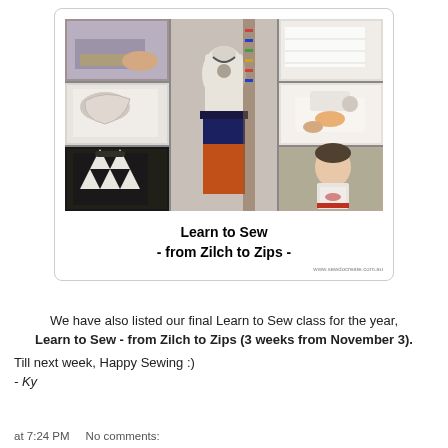[Figure (photo): Collage of sewing class photos with a dress form mannequin in the center wearing a navy and orange skirt, surrounded by photos of students sewing, fabric, and a finished garment. Text below reads 'Learn to Sew - from Zilch to Zips -' with website URL www.sewdocreate.com.au]
We have also listed our final Learn to Sew class for the year,
Learn to Sew - from Zilch to Zips (3 weeks from November 3).
Till next week, Happy Sewing :)
- Ky
at 7:24 PM    No comments: